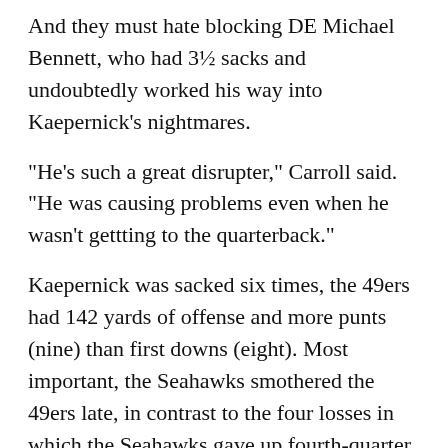And they must hate blocking DE Michael Bennett, who had 3½ sacks and undoubtedly worked his way into Kaepernick's nightmares.
“He's such a great disrupter,” Carroll said. “He was causing problems even when he wasn't gettting to the quarterback.”
Kaepernick was sacked six times, the 49ers had 142 yards of offense and more punts (nine) than first downs (eight). Most important, the Seahawks smothered the 49ers late, in contrast to the four losses in which the Seahawks gave up fourth-quarter leads.
Carroll was so upset about that disruption of team order that he was almost indignant talking about the failures.
“That was normal,” he said of the shutdown. “That's the way we're supposed to do it. Not making a big deal about that.